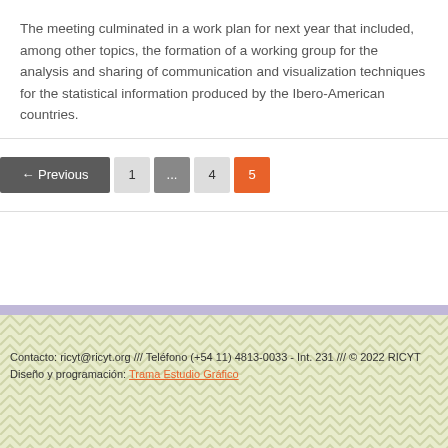The meeting culminated in a work plan for next year that included, among other topics, the formation of a working group for the analysis and sharing of communication and visualization techniques for the statistical information produced by the Ibero-American countries.
← Previous  1  ...  4  5
Contacto: ricyt@ricyt.org /// Teléfono (+54 11) 4813-0033 - Int. 231 /// © 2022 RICYT
Diseño y programación: Trama Estudio Gráfico